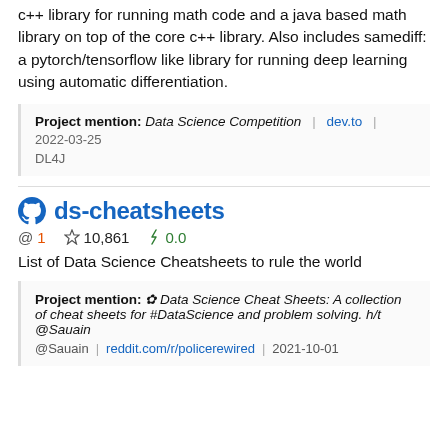c++ library for running math code and a java based math library on top of the core c++ library. Also includes samediff: a pytorch/tensorflow like library for running deep learning using automatic differentiation.
Project mention: Data Science Competition | dev.to | 2022-03-25
DL4J
ds-cheatsheets
@ 1  ☆ 10,861  ⚡ 0.0
List of Data Science Cheatsheets to rule the world
Project mention: ✿ Data Science Cheat Sheets: A collection of cheat sheets for #DataScience and problem solving. h/t @Sauain | reddit.com/r/policerewired | 2021-10-01